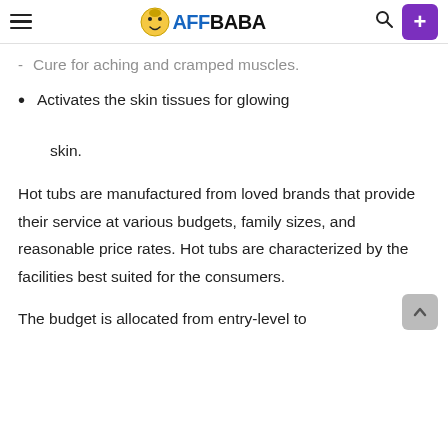AFFBABA
Cure for aching and cramped muscles.
Activates the skin tissues for glowing skin.
Hot tubs are manufactured from loved brands that provide their service at various budgets, family sizes, and reasonable price rates. Hot tubs are characterized by the facilities best suited for the consumers.
The budget is allocated from entry-level to